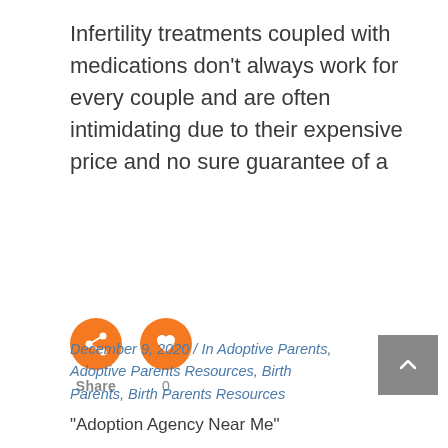Infertility treatments coupled with medications don't always work for every couple and are often intimidating due to their expensive price and no sure guarantee of a
[Figure (infographic): Two orange circular social media buttons: a share icon (left) and a heart/like icon (right), with labels 'Share' and '0' below them respectively.]
December 9, 2020  /  In Adoptive Parents, Adoptive Parents Resources, Birth Parents, Birth Parents Resources
“Adoption Agency Near Me”